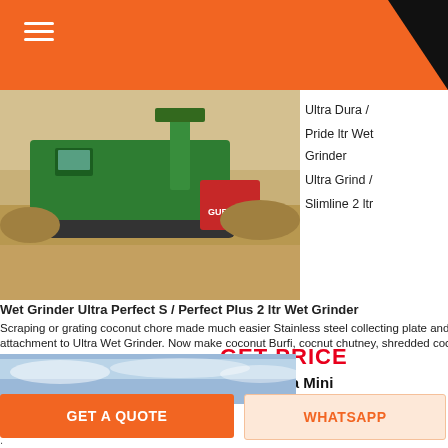[Figure (screenshot): Orange header bar with hamburger menu icon on the left and black triangle on the right corner]
[Figure (photo): Construction site with a large green mobile crushing/screening machine, debris and gravel piles visible, GURIN brand visible on red equipment]
Ultra Dura /
Pride ltr Wet Grinder
Ultra Grind /
Slimline 2 ltr
Wet Grinder Ultra Perfect S / Perfect Plus 2 ltr Wet Grinder
Scraping or grating coconut chore made much easier Stainless steel collecting plate and a grater head. This item is an attachment to Ultra Wet Grinder. Now make coconut Burfi, cocnut chutney, shredded coconut rice, coconut macaroon, coconut poli,
.
GET PRICE
Ultra Mini
[Figure (photo): Bottom image showing sky with clouds, partial view]
GET A QUOTE
WHATSAPP